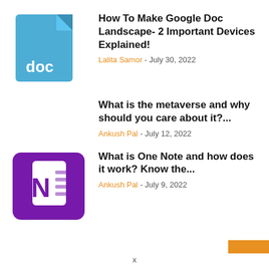[Figure (illustration): Blue Google Doc file icon with folded corner and 'doc' text in white]
How To Make Google Doc Landscape- 2 Important Devices Explained!
Lalita Samor - July 30, 2022
What is the metaverse and why should you care about it?...
Ankush Pal - July 12, 2022
[Figure (illustration): Microsoft OneNote purple icon with large N and page stack]
What is One Note and how does it work? Know the...
Ankush Pal - July 9, 2022